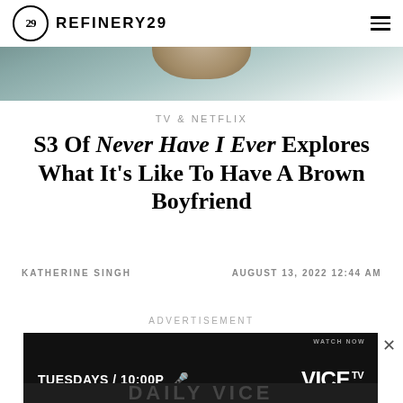REFINERY29
[Figure (photo): Cropped photo of a person from the show Never Have I Ever, blurred background with teal/blue tones]
TV & NETFLIX
S3 Of Never Have I Ever Explores What It's Like To Have A Brown Boyfriend
KATHERINE SINGH — AUGUST 13, 2022 12:44 AM
ADVERTISEMENT
[Figure (screenshot): VICE TV advertisement banner — TUESDAYS / 10:00P with VICE TV logo, WATCH NOW text]